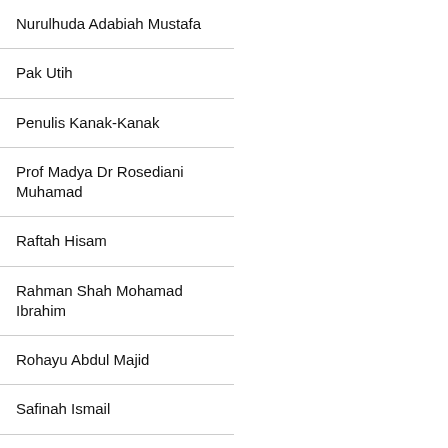| Nurulhuda Adabiah Mustafa |
| Pak Utih |
| Penulis Kanak-Kanak |
| Prof Madya Dr Rosediani Muhamad |
| Raftah Hisam |
| Rahman Shah Mohamad Ibrahim |
| Rohayu Abdul Majid |
| Safinah Ismail |